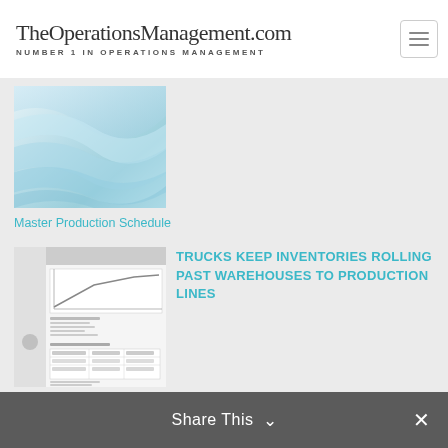TheOperationsManagement.com
NUMBER 1 IN OPERATIONS MANAGEMENT
[Figure (illustration): Abstract blue-green wave/ribbon design used as article thumbnail image]
Master Production Schedule
[Figure (screenshot): Thumbnail of a document page about EOQ/inventory with a graph and table]
TRUCKS KEEP INVENTORIES ROLLING PAST WAREHOUSES TO PRODUCTION LINES
Share This ×